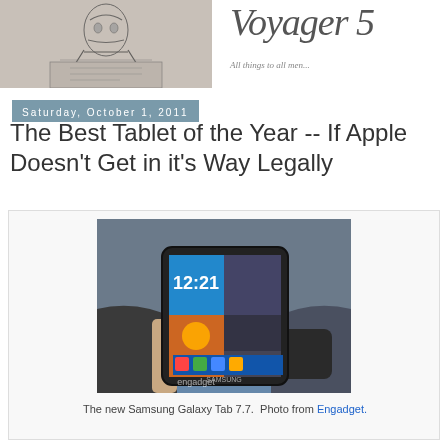[Figure (photo): Sketch illustration on left side of blog header]
Voyager 5 — All things to all men...
Saturday, October 1, 2011
The Best Tablet of the Year -- If Apple Doesn't Get in it's Way Legally
[Figure (photo): Photo of a person holding a Samsung Galaxy Tab 7.7 tablet showing the Android home screen with time 12:21, sourced from Engadget]
The new Samsung Galaxy Tab 7.7.  Photo from Engadget.